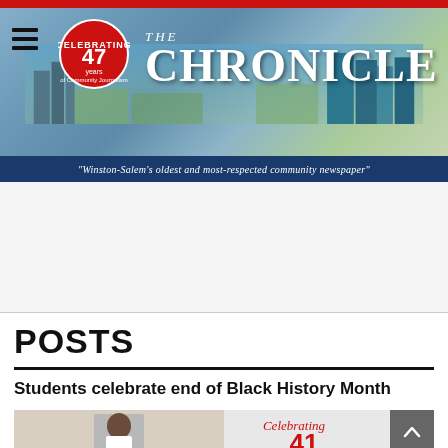[Figure (photo): The Chronicle newspaper website header. Red top bar, city skyline photo background with blue sky and buildings, hamburger menu icon top-left, red circular badge reading 'Celebrating 47 years of Community Journalism', large white serif text 'THE CHRONICLE' as masthead, dark blue tagline bar reading 'Winston-Salem's oldest and most-respected community newspaper']
POSTS
Students celebrate end of Black History Month
[Figure (photo): Two-panel image: left panel shows a smiling Black woman in white lab coat; right panel shows a red and grey graphic with text 'Celebrating 41' with dots pattern]